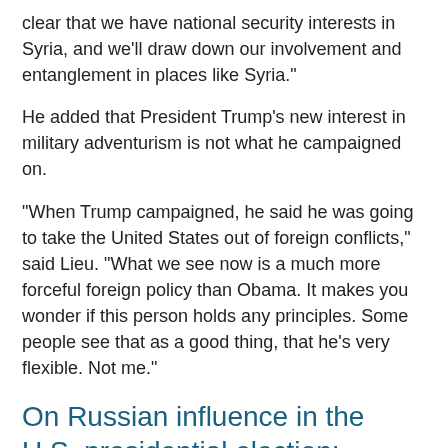clear that we have national security interests in Syria, and we'll draw down our involvement and entanglement in places like Syria."
He added that President Trump's new interest in military adventurism is not what he campaigned on.
"When Trump campaigned, he said he was going to take the United States out of foreign conflicts," said Lieu. "What we see now is a much more forceful foreign policy than Obama. It makes you wonder if this person holds any principles. Some people see that as a good thing, that he's very flexible. Not me."
On Russian influence in the U.S. presidential election:
Lieu discussed the investigation into Russia's hacking of the U.S. presidential election, saying they "launched a cyber-attack and a very extensive influence campaign on our country. I read the